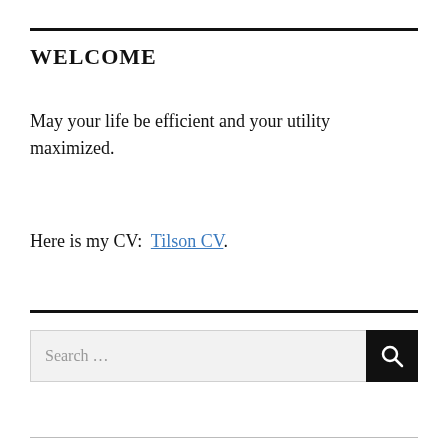WELCOME
May your life be efficient and your utility maximized.
Here is my CV:  Tilson CV.